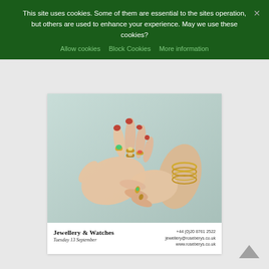This site uses cookies. Some of them are essential to the sites operation, but others are used to enhance your experience. May we use these cookies?
Allow cookies
Block Cookies
More information
[Figure (photo): Two female hands reaching toward each other against a pale mint/teal background. The left hand has multiple jewelled rings and red nail polish. The right hand wears gold bangles and has a jewelled ring on the index finger.]
Jewellery & Watches
Tuesday 13 September
+44 (0)20 8761 2522
jewellery@roseberys.co.uk
www.roseberys.co.uk